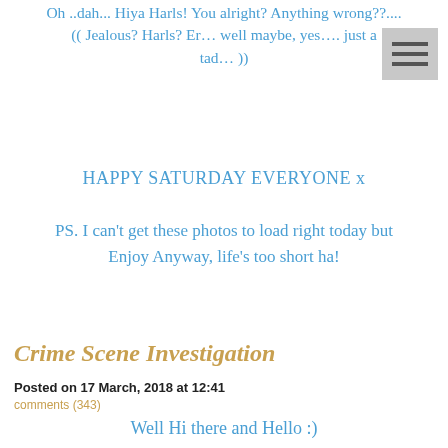Oh ..dah... Hiya Harls!  You alright?  Anything wrong??....  ((  Jealous?  Harls?  Er…  well maybe, yes…. just a tad… ))
HAPPY SATURDAY EVERYONE x
PS.  I can't get these photos to load right today but Enjoy Anyway, life's too short  ha!
Crime Scene Investigation
Posted on 17 March, 2018 at 12:41
comments (343)
Well Hi there and Hello :)
And... we have Snow here again in Suffolk today – and yes, there's those buckets out there all waiting to be sorted… again... But, hey, I have a blog to write ...? You ring out I just think is right to come and